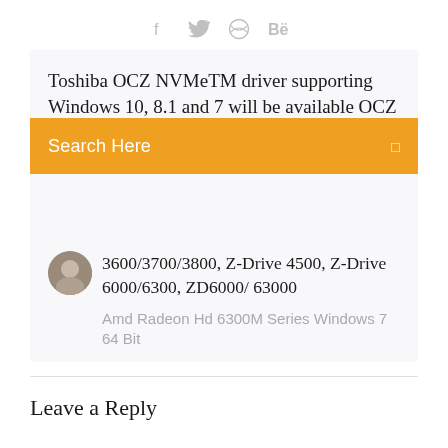[Figure (other): Social media icon bar with Facebook, Twitter, Dribbble, and Behance icons in gray]
Toshiba OCZ NVMeTM driver supporting Windows 10, 8.1 and 7 will be available OCZ SSDs (Vector
Search Here
3600/3700/3800, Z-Drive 4500, Z-Drive 6000/6300, ZD6000/ 63000
Amd Radeon Hd 6300M Series Windows 7 64 Bit
Leave a Reply